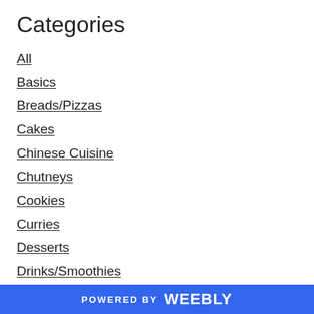Categories
All
Basics
Breads/Pizzas
Cakes
Chinese Cuisine
Chutneys
Cookies
Curries
Desserts
Drinks/Smoothies
Indian Cuisine
Italian Cuisine
Korean Cuisine
Lentil Curries
Main Meals
POWERED BY weebly